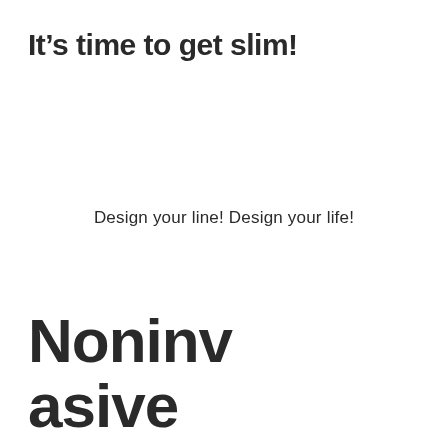It’s time to get slim!
Design your line! Design your life!
Noninvasive Fat Reduction HIFU